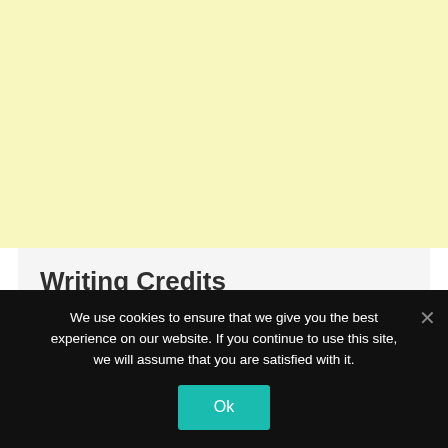[Figure (other): Large pale yellow rectangle occupying the top portion of the page, likely an advertisement area.]
Writing Credits
Scotty Mullen (screenplay by)
We use cookies to ensure that we give you the best experience on our website. If you continue to use this site, we will assume that you are satisfied with it.